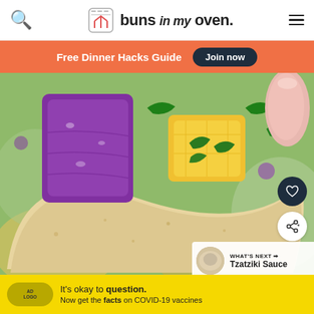buns in my oven.
Free Dinner Hacks Guide  Join now
[Figure (photo): Close-up photo of a tortilla chip topped with mango salsa including chunks of mango, purple red onion, and fresh herbs. Hand visible holding chips in upper right. Multiple chips with salsa in background.]
WHAT'S NEXT → Tzatziki Sauce
It's okay to question. Now get the facts on COVID-19 vaccines  GetVaccineAnswers.org